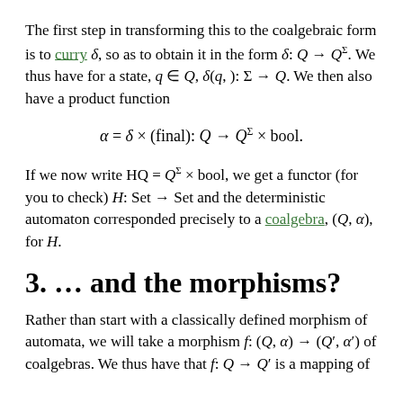The first step in transforming this to the coalgebraic form is to curry δ, so as to obtain it in the form δ: Q → Q^Σ. We thus have for a state, q ∈ Q, δ(q, ): Σ → Q. We then also have a product function
If we now write HQ = Q^Σ × bool, we get a functor (for you to check) H: Set → Set and the deterministic automaton corresponded precisely to a coalgebra, (Q, α), for H.
3. … and the morphisms?
Rather than start with a classically defined morphism of automata, we will take a morphism f: (Q, α) → (Q′, α′) of coalgebras. We thus have that f: Q → Q′ is a mapping of